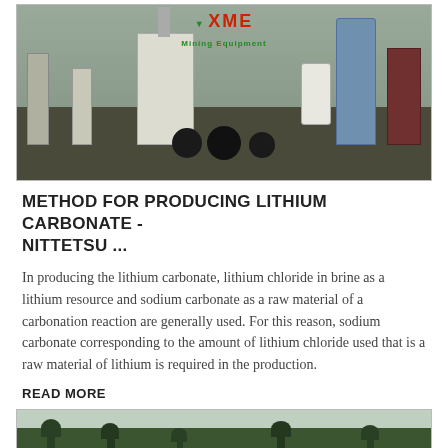[Figure (photo): Mining equipment / industrial machinery facility with XME Mining Equipment logo visible, showing large processing machines, pipes, wheels, and silos outdoors]
METHOD FOR PRODUCING LITHIUM CARBONATE - NITTETSU ...
In producing the lithium carbonate, lithium chloride in brine as a lithium resource and sodium carbonate as a raw material of a carbonation reaction are generally used. For this reason, sodium carbonate corresponding to the amount of lithium chloride used that is a raw material of lithium is required in the production.
READ MORE
[Figure (photo): Outdoor landscape scene with trees and open field, appears to be a mining or industrial site location]